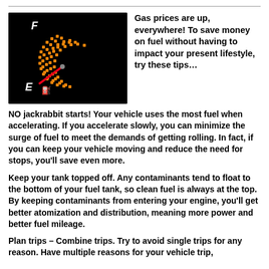[Figure (photo): A fuel gauge on a black background showing the needle pointing near empty (E), with orange dot-matrix display showing the gauge arc from E to F, and a red needle pointing low. F is at the top left, E is at the bottom left with a fuel pump icon.]
Gas prices are up, everywhere! To save money on fuel without having to impact your present lifestyle, try these tips…
NO jackrabbit starts! Your vehicle uses the most fuel when accelerating. If you accelerate slowly, you can minimize the surge of fuel to meet the demands of getting rolling. In fact, if you can keep your vehicle moving and reduce the need for stops, you'll save even more.
Keep your tank topped off. Any contaminants tend to float to the bottom of your fuel tank, so clean fuel is always at the top. By keeping contaminants from entering your engine, you'll get better atomization and distribution, meaning more power and better fuel mileage.
Plan trips – Combine trips. Try to avoid single trips for any reason. Have multiple reasons for your vehicle trip, and if possible, have someone else along to share the...